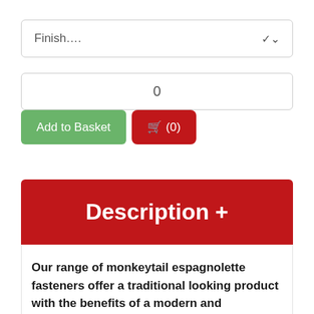[Figure (screenshot): Dropdown selector box with label 'Finish....' and chevron arrow on the right]
[Figure (screenshot): Quantity input box showing value '0']
[Figure (screenshot): Two buttons: green 'Add to Basket' button and red basket icon button showing '(0)']
Description +
Our range of monkeytail espagnolette fasteners offer a traditional looking product with the benefits of a modern and